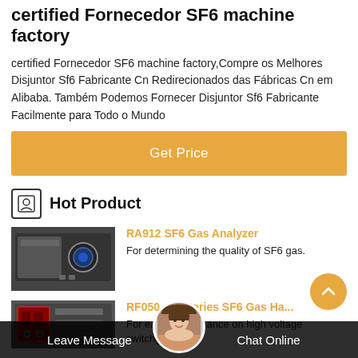certified Fornecedor SF6 machine factory
certified Fornecedor SF6 machine factory,Compre os Melhores Disjuntor Sf6 Fabricante Cn Redirecionados das Fábricas Cn em Alibaba. Também Podemos Fornecer Disjuntor Sf6 Fabricante Facilmente para Todo o Mundo
Get Price
Hot Product
[Figure (photo): RA912 SF6 Gas Analyzer device, dark colored rack-mounted unit with circular display]
RA912 SF6 Gas Analyzer
For determining the quality of SF6 gas.
[Figure (photo): RF050 Series SF6 Gas Handling device, partial view]
RF050...ny Series SF6 Gas Ha...
For easy maintenance on high voltage switchgear.
Leave Message   Chat Online